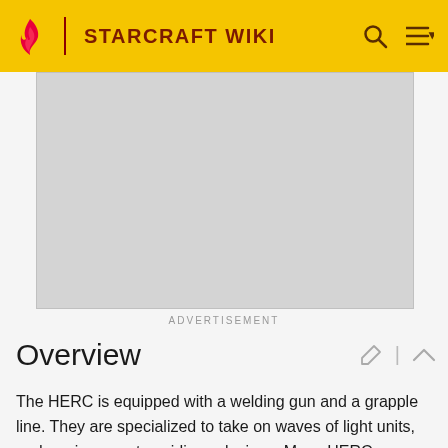STARCRAFT WIKI
[Figure (other): Gray advertisement placeholder rectangle]
ADVERTISEMENT
Overview
The HERC is equipped with a welding gun and a grapple line. They are specialized to take on waves of light units, and are immune to acidic explosions. Many HERCs were ex-asteroid miners conscripted into service.[1]
History
End War